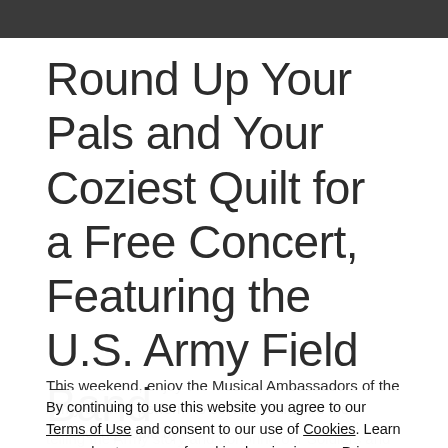[Figure (photo): Dark grayscale photo bar at top of page, partially visible image]
Round Up Your Pals and Your Coziest Quilt for a Free Concert, Featuring the U.S. Army Field Band
This weekend, enjoy the Musical Ambassadors of the Army as they perform to serve and inspire the American people by telling the Army story and honoring our Soldiers and Veterans at home and abroad. Join in the fun at Miller Outdoor Theatre on November 3rd when the U.S. Army Field Band presents a Soldier's Chorus.
By continuing to use this website you agree to our Terms of Use and consent to our use of Cookies. Learn more about our use of cookies by viewing our Privacy Policy.
ACCEPT